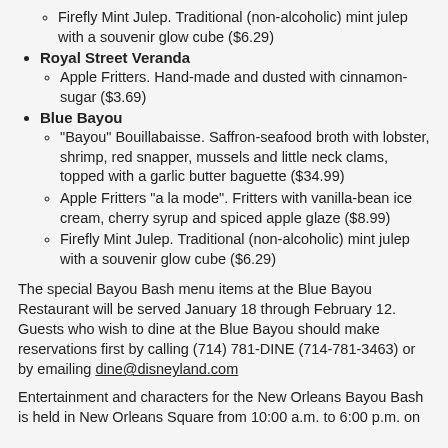Firefly Mint Julep. Traditional (non-alcoholic) mint julep with a souvenir glow cube ($6.29)
Royal Street Veranda
Apple Fritters. Hand-made and dusted with cinnamon-sugar ($3.69)
Blue Bayou
"Bayou" Bouillabaisse. Saffron-seafood broth with lobster, shrimp, red snapper, mussels and little neck clams, topped with a garlic butter baguette ($34.99)
Apple Fritters "a la mode". Fritters with vanilla-bean ice cream, cherry syrup and spiced apple glaze ($8.99)
Firefly Mint Julep. Traditional (non-alcoholic) mint julep with a souvenir glow cube ($6.29)
The special Bayou Bash menu items at the Blue Bayou Restaurant will be served January 18 through February 12. Guests who wish to dine at the Blue Bayou should make reservations first by calling (714) 781-DINE (714-781-3463) or by emailing dine@disneyland.com
Entertainment and characters for the New Orleans Bayou Bash is held in New Orleans Square from 10:00 a.m. to 6:00 p.m. on